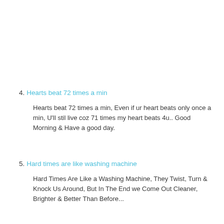4. Hearts beat 72 times a min
Hearts beat 72 times a min, Even if ur heart beats only once a min, U'll stil live coz 71 times my heart beats 4u.. Good Morning & Have a good day.
5. Hard times are like washing machine
Hard Times Are Like a Washing Machine, They Twist, Turn & Knock Us Around, But In The End we Come Out Cleaner, Brighter & Better Than Before...